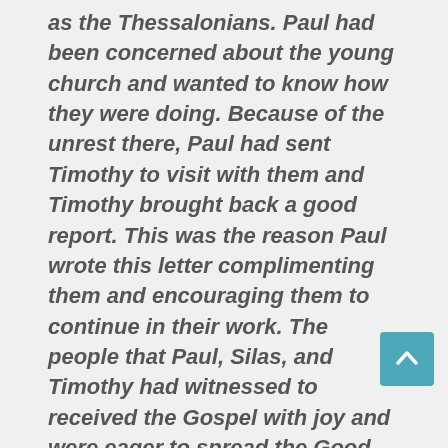as the Thessalonians. Paul had been concerned about the young church and wanted to know how they were doing. Because of the unrest there, Paul had sent Timothy to visit with them and Timothy brought back a good report. This was the reason Paul wrote this letter complimenting them and encouraging them to continue in their work. The people that Paul, Silas, and Timothy had witnessed to received the Gospel with joy and were eager to spread the Good News. Their missionary work was reaping quite a harvest as the church there carried on the work of spreading the Gospel in Macedonia and Southern Greece. Are we being faithful in spreading the Good News of Jesus Christ to others? Are we blooming where we are planted? Are we laboring in the fields that are white with harvest? Each one should disciple one. That is our part in keeping the Word going and God's